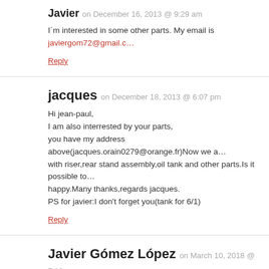Javier on December 16, 2013 @ 9:29 am
I´m interested in some other parts. My email is javiergom72@gmail.c…
Reply
jacques on December 18, 2013 @ 6:07 pm
Hi jean-paul,
I am also interrested by your parts,
you have my address above(jacques.orain0279@orange.fr)Now we a… with riser,rear stand assembly,oil tank and other parts.Is it possible to… happy.Many thanks,regards jacques.
PS for javier:I don't forget you(tank for 6/1)
Reply
Javier Gómez López on March 10, 2018 @ 7:13 pm
Hello!!
Any Triumph 6/1 parts left? I´m interested in some parts. Coukld you… Thanks a lot.
Javier